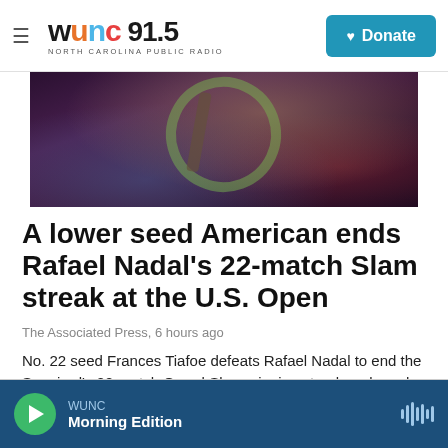WUNC 91.5 NORTH CAROLINA PUBLIC RADIO — Donate
[Figure (photo): Tennis player photographed from below, holding a racket, wearing dark clothing, crowd visible in background]
A lower seed American ends Rafael Nadal's 22-match Slam streak at the U.S. Open
The Associated Press, 6 hours ago
No. 22 seed Frances Tiafoe defeats Rafael Nadal to end the Spaniard's 22-match Grand Slam winning streak and reach the U.S. Open quarterfinals for the first time.
WUNC Morning Edition